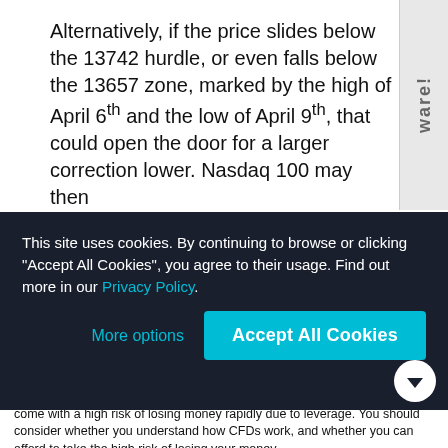Alternatively, if the price slides below the 13742 hurdle, or even falls below the 13657 zone, marked by the high of April 6th and the low of April 9th, that could open the door for a larger correction lower. Nasdaq 100 may then
This site uses cookies. By continuing to browse or clicking "Accept All Cookies", you agree to their usage. Find out more in our Privacy Policy.
Risk Warning: 75.86% of retail investor accounts lose money when trading CFDs with this provider. CFDs are complex instruments and come with a high risk of losing money rapidly due to leverage. You should consider whether you understand how CFDs work, and whether you can afford to take the high risk of losing your money.